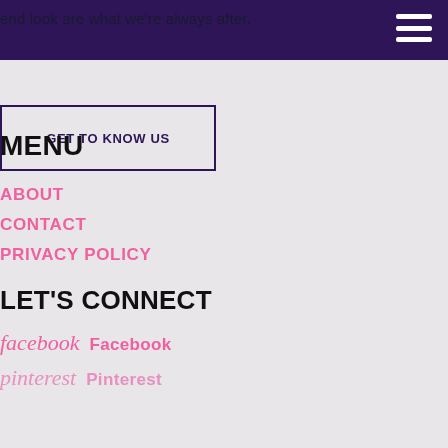end look are what we're always after.
GET TO KNOW US
MENU
ABOUT
CONTACT
PRIVACY POLICY
LET'S CONNECT
facebook  Facebook
pinterest  Pinterest